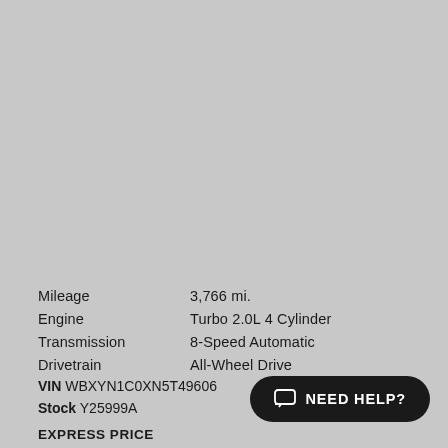[Figure (photo): Gray placeholder image area for a vehicle photo]
| Mileage | 3,766 mi. |
| Engine | Turbo 2.0L 4 Cylinder |
| Transmission | 8-Speed Automatic |
| Drivetrain | All-Wheel Drive |
VIN WBXYN1C0XN5T49606
Stock Y25999A
NEED HELP?
EXPRESS PRICE